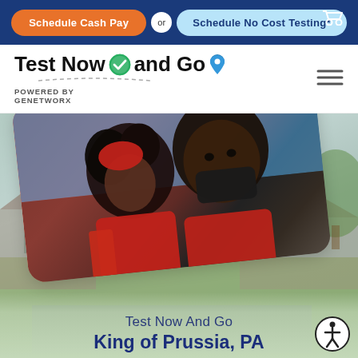Schedule Cash Pay  or  Schedule No Cost Testing*
Test Now and Go
POWERED BY GENETWORx
[Figure (photo): Two people wearing red winter clothing and a black face mask, outdoors in a neighborhood setting. The image is displayed in a diagonal rotated card layout over a background showing houses and greenery.]
Test Now And Go
King of Prussia, PA